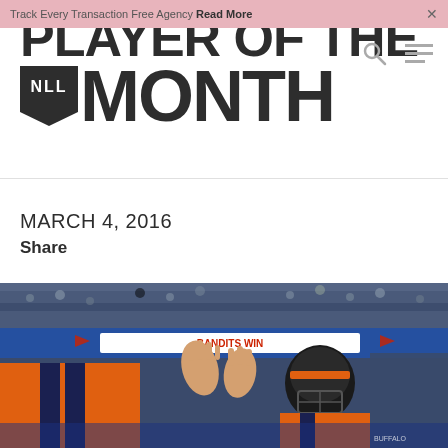Track Every Transaction Free Agency Read More ×
PLAYER OF THE NLL MONTH
MARCH 4, 2016
Share
[Figure (photo): NLL Buffalo Bandits lacrosse player in orange uniform with helmet celebrating a win, high-fiving teammates/fans. Arena scoreboard visible in background reading 'BANDITS WIN'. Crowd fills the arena seating.]